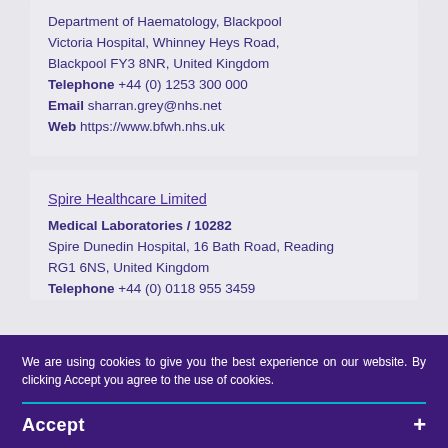Department of Haematology, Blackpool Victoria Hospital, Whinney Heys Road, Blackpool FY3 8NR, United Kingdom
Telephone +44 (0) 1253 300 000
Email sharran.grey@nhs.net
Web https://www.bfwh.nhs.uk
Spire Healthcare Limited
Medical Laboratories / 10282
Spire Dunedin Hospital, 16 Bath Road, Reading RG1 6NS, United Kingdom
Telephone +44 (0) 0118 955 3459
We are using cookies to give you the best experience on our website. By clicking Accept you agree to the use of cookies.
Accept +